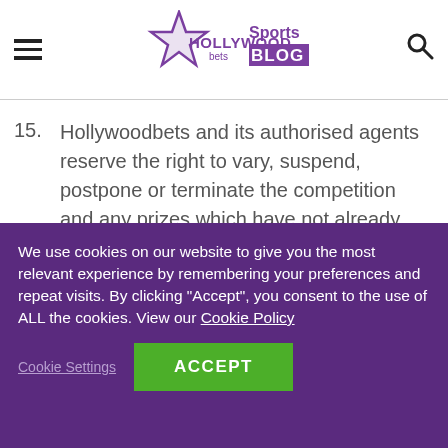Hollywoodbets Sports Blog
15. Hollywoodbets and its authorised agents reserve the right to vary, suspend, postpone or terminate the competition and any prizes which have not already been won, or any aspect thereof, for any reasons whatsoever and without notice. In such event, you hereby waive any
We use cookies on our website to give you the most relevant experience by remembering your preferences and repeat visits. By clicking “Accept”, you consent to the use of ALL the cookies. View our Cookie Policy
ACCEPT